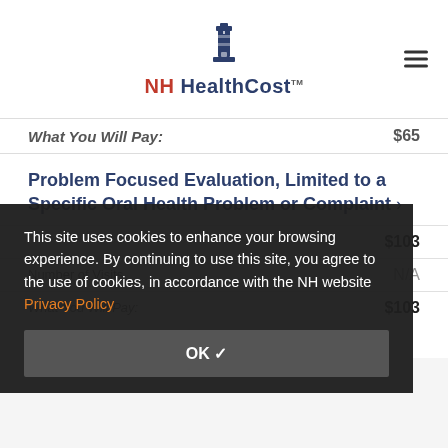NH HealthCost
What You Will Pay: $65
Problem Focused Evaluation, Limited to a Specific Oral Health Problem or Complaint >
$103
Number of Visits: N/A
What You Will Pay: $103
This site uses cookies to enhance your browsing experience. By continuing to use this site, you agree to the use of cookies, in accordance with the NH website Privacy Policy
OK ✓
Topical Varnish Fluoride Application >